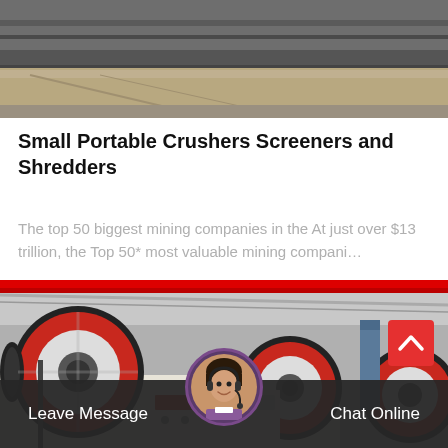[Figure (photo): Industrial machinery/factory floor view from above showing metal rails and floor in grey and brown tones]
Small Portable Crushers Screeners and Shredders
The top 50 biggest mining companies in the At just over $13 trillion, the Top 50* most valuable mining compani…
[Figure (photo): Industrial jaw crusher machines with large red and black flywheels in a factory setting]
Leave Message   Chat Online